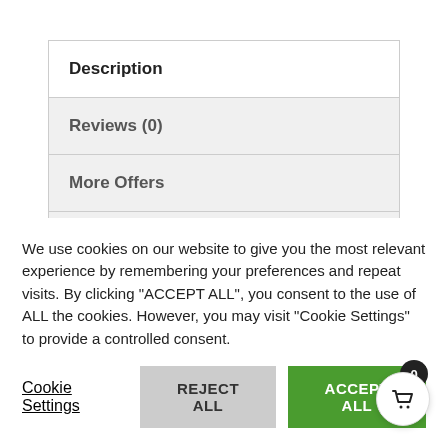Description
Reviews (0)
More Offers
Store Policies
Inquiries
Description
We use cookies on our website to give you the most relevant experience by remembering your preferences and repeat visits. By clicking “ACCEPT ALL”, you consent to the use of ALL the cookies. However, you may visit “Cookie Settings” to provide a controlled consent.
Cookie Settings  REJECT ALL  ACCEPT ALL